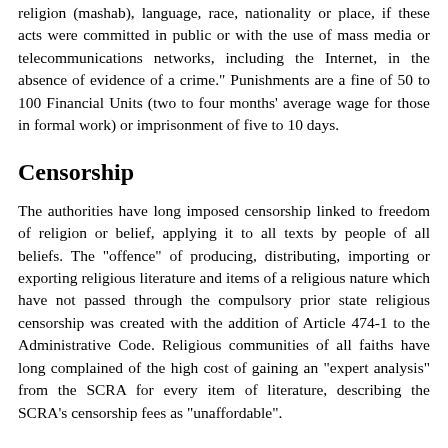religion (mashab), language, race, nationality or place, if these acts were committed in public or with the use of mass media or telecommunications networks, including the Internet, in the absence of evidence of a crime." Punishments are a fine of 50 to 100 Financial Units (two to four months' average wage for those in formal work) or imprisonment of five to 10 days.
Censorship
The authorities have long imposed censorship linked to freedom of religion or belief, applying it to all texts by people of all beliefs. The "offence" of producing, distributing, importing or exporting religious literature and items of a religious nature which have not passed through the compulsory prior state religious censorship was created with the addition of Article 474-1 to the Administrative Code. Religious communities of all faiths have long complained of the high cost of gaining an "expert analysis" from the SCRA for every item of literature, describing the SCRA's censorship fees as "unaffordable".
At the same time the Jehovah's Witnesses were banned in 2007 (see Jailing conscientious objectors to military service section above), "temporary" bans were also imposed on two Dushanbe Protestant organisations, Ehyo Church and the Abundant Life Christian Centre. The regime refused to put the ban on Ehyo in writing. Ehyo was